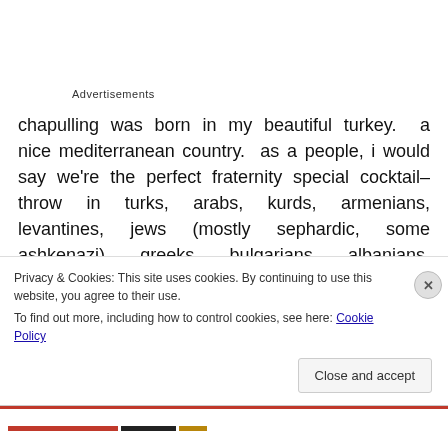Advertisements
chapulling was born in my beautiful turkey.  a nice mediterranean country.  as a people, i would say we're the perfect fraternity special cocktail– throw in turks, arabs, kurds, armenians, levantines, jews (mostly sephardic, some ashkenazi), greeks, bulgarians, albanians, lebanese, and anyone else you can find in a 2,000 mile radius in a blender and you have us  we live in the original
Privacy & Cookies: This site uses cookies. By continuing to use this website, you agree to their use.
To find out more, including how to control cookies, see here: Cookie Policy
Close and accept